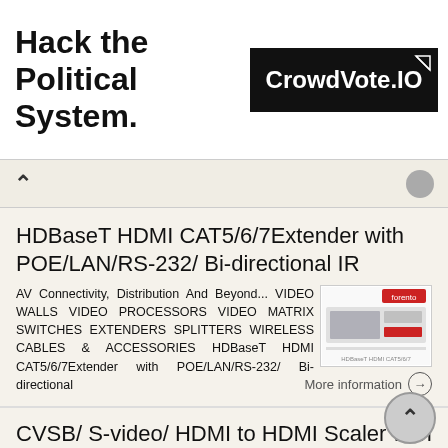[Figure (screenshot): Advertisement banner: 'Hack the Political System.' on left, CrowdVote.IO logo in black box on right with share icon]
HDBaseT HDMI CAT5/6/7Extender with POE/LAN/RS-232/ Bi-directional IR
AV Connectivity, Distribution And Beyond... VIDEO WALLS VIDEO PROCESSORS VIDEO MATRIX SWITCHES EXTENDERS SPLITTERS WIRELESS CABLES & ACCESSORIES HDBaseT HDMI CAT5/6/7Extender with POE/LAN/RS-232/ Bi-directional
More information →
CVSB/ S-video/ HDMI to HDMI Scaler with 720p and 1080p Switching.
CVSB/ S-video/ HDMI to HDMI Scaler with